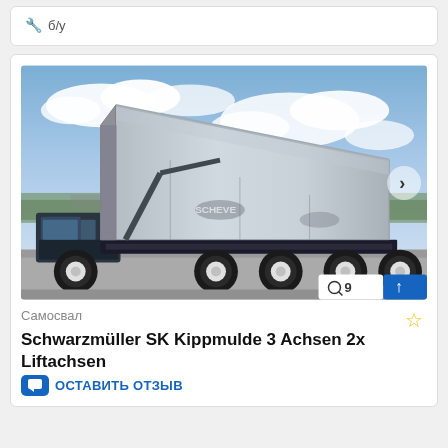🔧 б/у
[Figure (photo): Schwarzmüller SK Kippmulde 3-axle dump semi-trailer with tipping body raised, parked on pavement with blue sky in background]
Самосвал
Schwarzmüller SK Kippmulde 3 Achsen 2x Liftachsen
ОСТАВИТЬ ОТЗЫВ